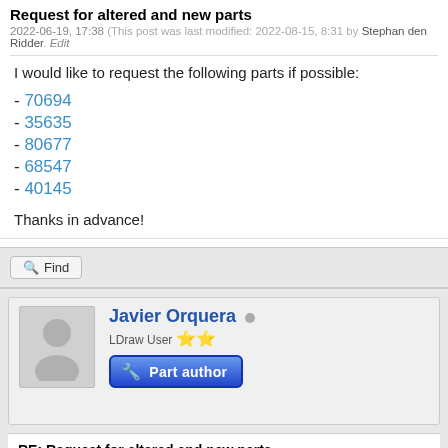Request for altered and new parts
2022-06-19, 17:38 (This post was last modified: 2022-08-15, 8:31 by Stephan den Ridder. Edit
I would like to request the following parts if possible:
- 70694
- 35635
- 80677
- 68547
- 40145
Thanks in advance!
Find
Javier Orquera
LDraw User ★★
Part author
RE: Request for altered and new parts
2022-06-20, 0:05